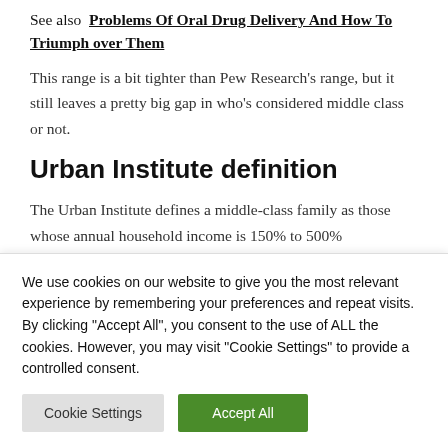See also Problems Of Oral Drug Delivery And How To Triumph over Them
This range is a bit tighter than Pew Research's range, but it still leaves a pretty big gap in who's considered middle class or not.
Urban Institute definition
The Urban Institute defines a middle-class family as those whose annual household income is 150% to 500%
We use cookies on our website to give you the most relevant experience by remembering your preferences and repeat visits. By clicking "Accept All", you consent to the use of ALL the cookies. However, you may visit "Cookie Settings" to provide a controlled consent.